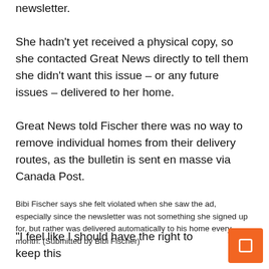newsletter.
She hadn't yet received a physical copy, so she contacted Great News directly to tell them she didn't want this issue – or any future issues – delivered to her home.
Great News told Fischer there was no way to remove individual homes from their delivery routes, as the bulletin is sent en masse via Canada Post.
Bibi Fischer says she felt violated when she saw the ad, especially since the newsletter was not something she signed up for, but rather was delivered automatically to his home every month. (Submitted by Bibi Fischer)
“I feel like I should have the right to keep this